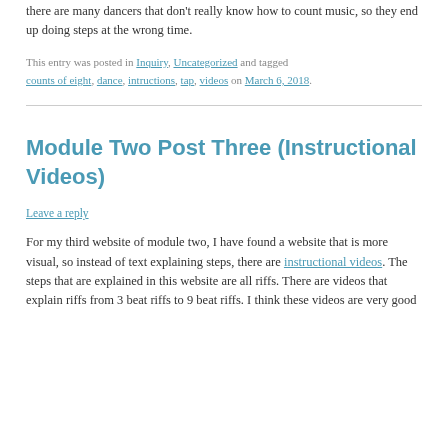there are many dancers that don't really know how to count music, so they end up doing steps at the wrong time.
This entry was posted in Inquiry, Uncategorized and tagged counts of eight, dance, intructions, tap, videos on March 6, 2018.
Module Two Post Three (Instructional Videos)
Leave a reply
For my third website of module two, I have found a website that is more visual, so instead of text explaining steps, there are instructional videos. The steps that are explained in this website are all riffs. There are videos that explain riffs from 3 beat riffs to 9 beat riffs. I think these videos are very good